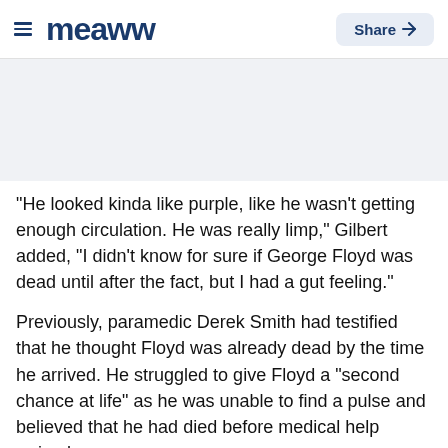meaww | Share
[Figure (other): Gray banner/advertisement placeholder area]
"He looked kinda like purple, like he wasn't getting enough circulation. He was really limp," Gilbert added, "I didn't know for sure if George Floyd was dead until after the fact, but I had a gut feeling."
Previously, paramedic Derek Smith had testified that he thought Floyd was already dead by the time he arrived. He struggled to give Floyd a "second chance at life" as he was unable to find a pulse and believed that he had died before medical help arrived.